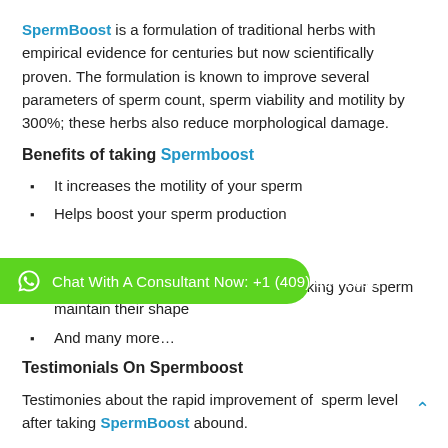SpermBoost is a formulation of traditional herbs with empirical evidence for centuries but now scientifically proven. The formulation is known to improve several parameters of sperm count, sperm viability and motility by 300%; these herbs also reduce morphological damage.
Benefits of taking Spermboost
It increases the motility of your sperm
Helps boost your sperm production
[Figure (other): WhatsApp chat consultant button: Chat With A Consultant Now: +1 (409) 995-2813]
Reduces morphological damage – making your sperm maintain their shape
And many more…
Testimonials On Spermboost
Testimonies about the rapid improvement of sperm level after taking SpermBoost abound.
After 2 years of trying to conceive, we had pretty much given up. My husband sperm was watery. I found this and had thought it